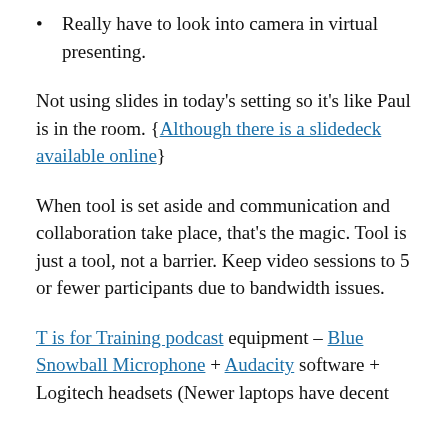Really have to look into camera in virtual presenting.
Not using slides in today's setting so it's like Paul is in the room. {Although there is a slidedeck available online}
When tool is set aside and communication and collaboration take place, that's the magic. Tool is just a tool, not a barrier. Keep video sessions to 5 or fewer participants due to bandwidth issues.
T is for Training podcast equipment – Blue Snowball Microphone + Audacity software + Logitech headsets (Newer laptops have decent